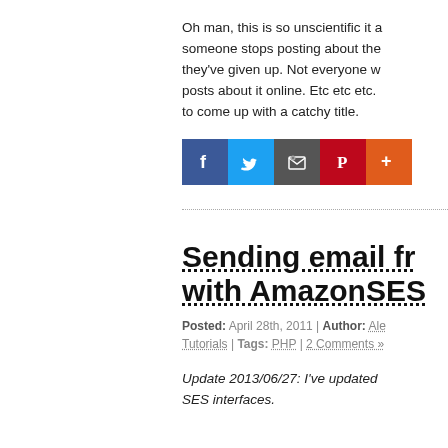Oh man, this is so unscientific it a… someone stops posting about the… they've given up. Not everyone w… posts about it online. Etc etc etc.… to come up with a catchy title.
[Figure (other): Social sharing icons row: Facebook (blue), Twitter (light blue), Email/RSS (dark grey), Pinterest (red), More/Plus (orange-red)]
Sending email fr… with AmazonSES
Posted: April 28th, 2011 | Author: Ale…
Tutorials | Tags: PHP | 2 Comments »
Update 2013/06/27: I've updated… SES interfaces.